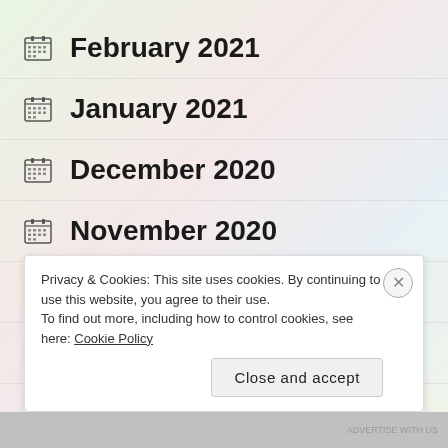February 2021
January 2021
December 2020
November 2020
October 2020
September 2020
Privacy & Cookies: This site uses cookies. By continuing to use this website, you agree to their use.
To find out more, including how to control cookies, see here: Cookie Policy
Close and accept